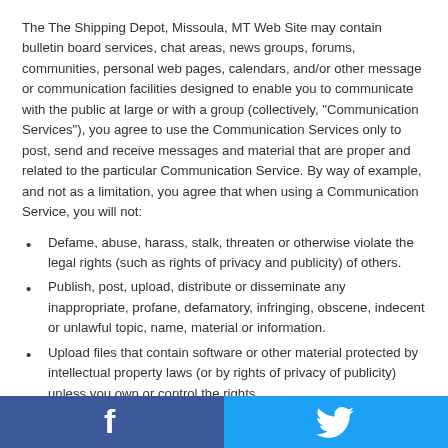The The Shipping Depot, Missoula, MT Web Site may contain bulletin board services, chat areas, news groups, forums, communities, personal web pages, calendars, and/or other message or communication facilities designed to enable you to communicate with the public at large or with a group (collectively, "Communication Services"), you agree to use the Communication Services only to post, send and receive messages and material that are proper and related to the particular Communication Service. By way of example, and not as a limitation, you agree that when using a Communication Service, you will not:
Defame, abuse, harass, stalk, threaten or otherwise violate the legal rights (such as rights of privacy and publicity) of others.
Publish, post, upload, distribute or disseminate any inappropriate, profane, defamatory, infringing, obscene, indecent or unlawful topic, name, material or information.
Upload files that contain software or other material protected by intellectual property laws (or by rights of privacy of publicity) unless you own or control the rights thereto or have received all necessary consents.
Facebook | Twitter